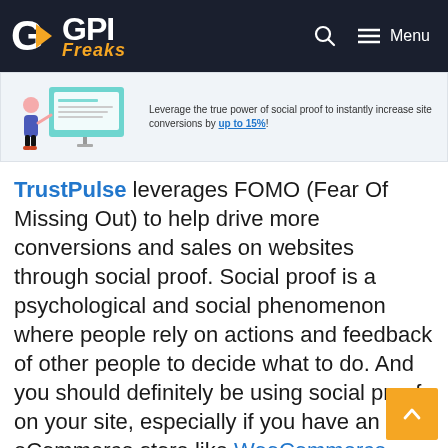GPI Freaks — Menu
[Figure (screenshot): Banner advertisement showing an illustration of a person at a computer with text: Leverage the true power of social proof to instantly increase site conversions by up to 15%!]
TrustPulse leverages FOMO (Fear Of Missing Out) to help drive more conversions and sales on websites through social proof. Social proof is a psychological and social phenomenon where people rely on actions and feedback of other people to decide what to do. And you should definitely be using social proof on your site, especially if you have an eCommerce store like WooCommerce.